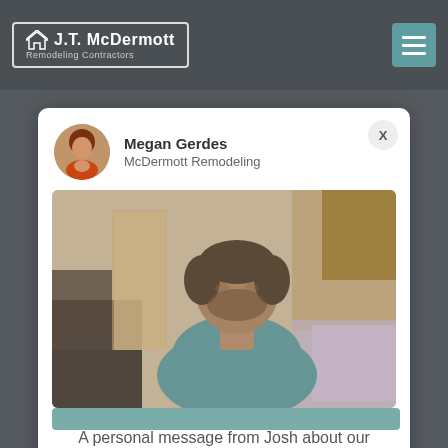[Figure (logo): J.T. McDermott Remodeling Contractors logo with house icon, white text on dark background, shown in navbar]
[Figure (screenshot): A social-media-style chat popup card showing profile of Megan Gerdes from McDermott Remodeling, a blurred video thumbnail of a man in a teal shirt in a home interior, and caption text below]
A personal message from Josh about our virtual consultation process.